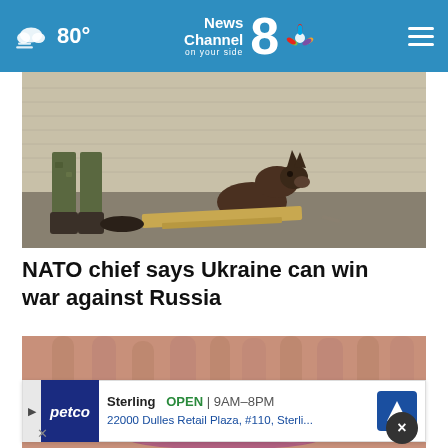80° News Channel 8 on your side
[Figure (photo): A soldier in camouflage gear with a German Shepherd dog against a brick wall background]
NATO chief says Ukraine can win war against Russia
[Figure (photo): Close-up macro photograph of an elderly person's lips and surrounding wrinkled skin]
[Figure (other): Petco advertisement banner: Sterling OPEN 9AM-8PM, 22000 Dulles Retail Plaza, #110, Sterli...]